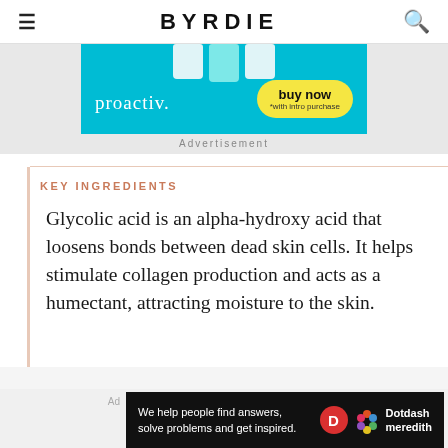BYRDIE
[Figure (other): Proactiv advertisement banner with teal background showing product containers and a yellow 'buy now' button with '*with intro purchase' text]
Advertisement
KEY INGREDIENTS
Glycolic acid is an alpha-hydroxy acid that loosens bonds between dead skin cells. It helps stimulate collagen production and acts as a humectant, attracting moisture to the skin.
[Figure (other): Dotdash Meredith advertisement banner: 'We help people find answers, solve problems and get inspired.' with Dotdash Meredith logo]